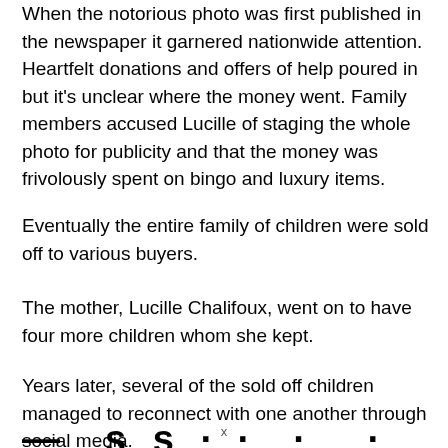When the notorious photo was first published in the newspaper it garnered nationwide attention. Heartfelt donations and offers of help poured in but it's unclear where the money went. Family members accused Lucille of staging the whole photo for publicity and that the money was frivolously spent on bingo and luxury items.
Eventually the entire family of children were sold off to various buyers.
The mother, Lucille Chalifoux, went on to have four more children whom she kept.
Years later, several of the sold off children managed to reconnect with one another through social media.
— [partially visible cut-off text at bottom]
x